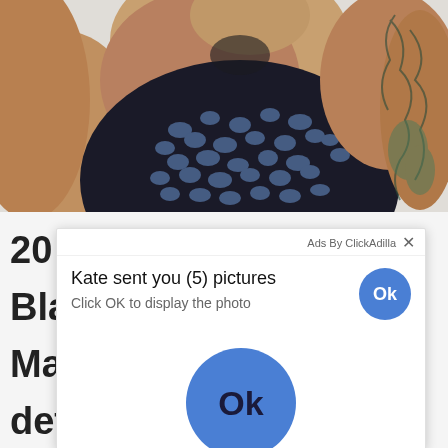[Figure (photo): Photo of a woman wearing a black and blue snake-pattern workout top, with a tattoo visible on her right arm. Image is cropped showing neck/shoulders/chest area against a white background.]
20...
Bla...
Ma...
det...
you...
one...
[Figure (screenshot): Ad popup overlay from ClickAdilla showing 'Kate sent you (5) pictures' with 'Click OK to display the photo' subtitle, a small blue Ok button in the top right, and a large blue Ok button in the center of the popup. An X close button is in the top right corner.]